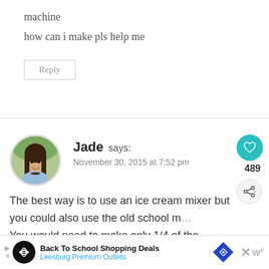machine
how can i make pls help me
Reply
Jade says:
November 30, 2015 at 7:52 pm
The best way is to use an ice cream mixer but you could also use the old school m... You would need to make only 1/4 of the
WHAT'S NEXT → Pumpkin Pie Ice Cream...
Back To School Shopping Deals
Leesburg Premium Outlets